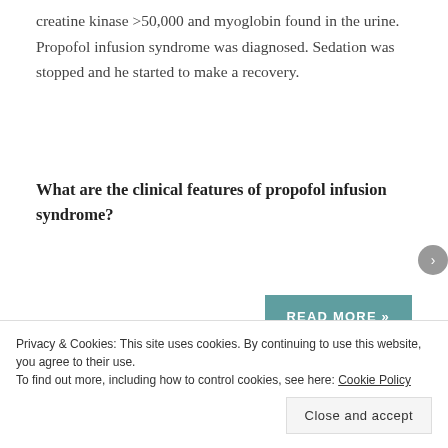creatine kinase >50,000 and myoglobin found in the urine. Propofol infusion syndrome was diagnosed. Sedation was stopped and he started to make a recovery.
What are the clinical features of propofol infusion syndrome?
READ MORE »
Share this:
Tweet
Privacy & Cookies: This site uses cookies. By continuing to use this website, you agree to their use. To find out more, including how to control cookies, see here: Cookie Policy
Close and accept